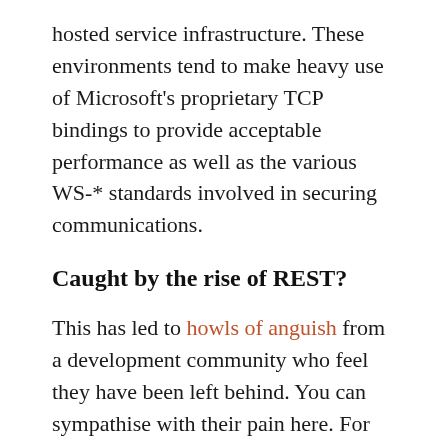hosted service infrastructure. These environments tend to make heavy use of Microsoft's proprietary TCP bindings to provide acceptable performance as well as the various WS-* standards involved in securing communications.
Caught by the rise of REST?
This has led to howls of anguish from a development community who feel they have been left behind. You can sympathise with their pain here. For many years, WCF services were regarded as the tool of choice for application integration. The guarantee of cross-platform operability might have been a